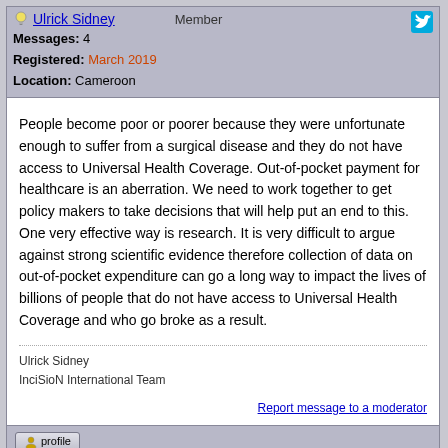Ulrick Sidney  Member
Messages: 4
Registered: March 2019
Location: Cameroon
People become poor or poorer because they were unfortunate enough to suffer from a surgical disease and they do not have access to Universal Health Coverage. Out-of-pocket payment for healthcare is an aberration. We need to work together to get policy makers to take decisions that will help put an end to this. One very effective way is research. It is very difficult to argue against strong scientific evidence therefore collection of data on out-of-pocket expenditure can go a long way to impact the lives of billions of people that do not have access to Universal Health Coverage and who go broke as a result.
Ulrick Sidney
InciSioN International Team
Report message to a moderator
[Message index]